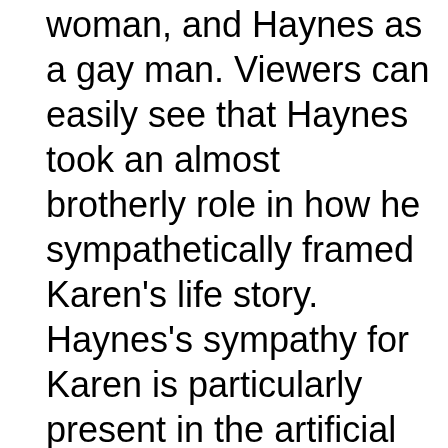woman, and Haynes as a gay man. Viewers can easily see that Haynes took an almost brotherly role in how he sympathetically framed Karen's life story. Haynes's sympathy for Karen is particularly present in the artificial medium of his film, clearly intended to mock the patriarchal structure of the music media that had turned against Karen during her career. The music industry began Karen's